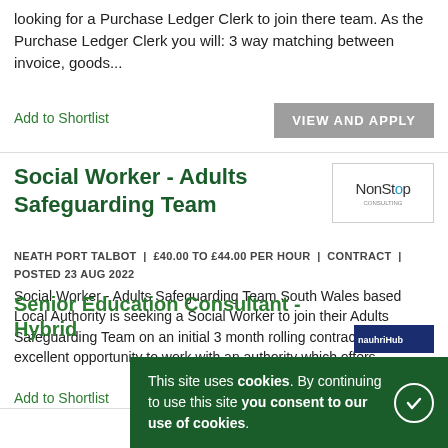looking for a Purchase Ledger Clerk to join there team. As the Purchase Ledger Clerk you will: 3 way matching between invoice, goods...
Add to Shortlist
VIEW AND APPLY
Social Worker - Adults Safeguarding Team
[Figure (logo): NonStop consulting company logo]
NEATH PORT TALBOT  |  £40.00 TO £44.00 PER HOUR  |  CONTRACT  |  POSTED 23 AUG 2022
Social Worker - Adults Safeguarding Team South Wales based Local Authority is seeking a Social Worker to join their Adults Safeguarding Team on an initial 3 month rolling contract. This is an excellent opportunity to work with an authority which offers...
Add to Shortlist
VIEW AND APPLY
Senior Education Consultant - Hybrid
[Figure (logo): Naukrihub or similar company logo, partially visible]
This site uses cookies. By continuing to use this site you consent to our use of cookies.